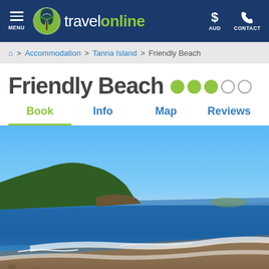travelonline — MENU | AUD | CONTACT
Home > Accommodation > Tanna Island > Friendly Beach
Friendly Beach
Book | Info | Map | Reviews
[Figure (photo): A scenic tropical beach with blue sky, calm ocean waves, sandy shore, and green forested hillside in the background. Tanna Island, Vanuatu.]